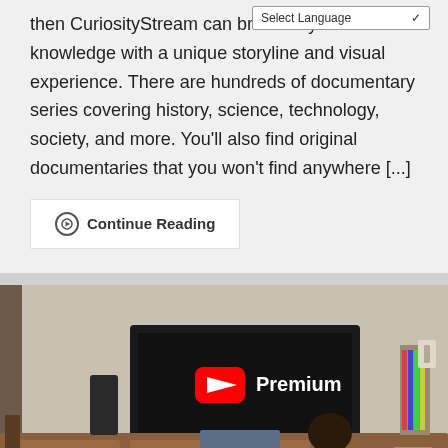then CuriosityStream can broaden your knowledge with a unique storyline and visual experience. There are hundreds of documentary series covering history, science, technology, society, and more. You'll also find original documentaries that you won't find anywhere [...]
Continue Reading
[Figure (photo): Person sitting on a couch watching a large flat-screen TV displaying YouTube Premium logo, in a living room setting with bookshelves and plants visible]